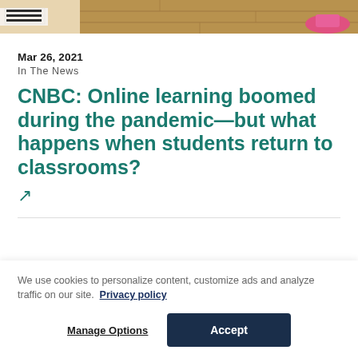[Figure (photo): Partial photo showing children on a wooden floor, one wearing striped socks and another with pink shoes visible]
Mar 26, 2021
In The News
CNBC: Online learning boomed during the pandemic—but what happens when students return to classrooms?
↗
We use cookies to personalize content, customize ads and analyze traffic on our site. Privacy policy
Manage Options
Accept